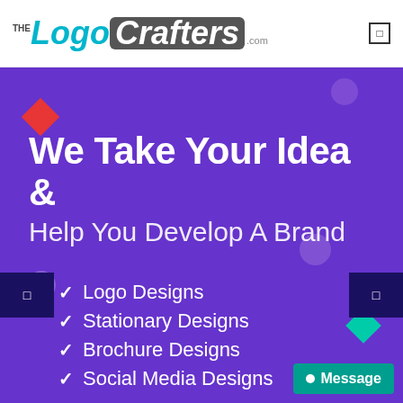[Figure (logo): TheLogoCrafters.com logo with teal and grey styling]
We Take Your Idea &
Help You Develop A Brand
Logo Designs
Stationary Designs
Brochure Designs
Social Media Designs